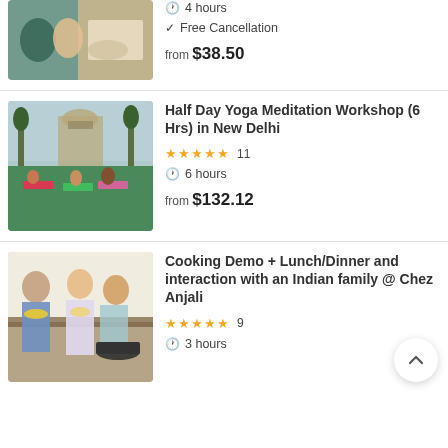[Figure (photo): Partial top photo showing people eating at a table with food]
4 hours
Free Cancellation
from $38.50
[Figure (photo): Group of people doing yoga meditation outdoors in front of a historic building in New Delhi]
Half Day Yoga Meditation Workshop (6 Hrs) in New Delhi
★★★★★ 11
6 hours
from $132.12
[Figure (photo): People posing in a kitchen, including a man with a flower garland and two women, one cooking]
Cooking Demo + Lunch/Dinner and interaction with an Indian family @ Chez Anjali
★★★★★ 9
3 hours